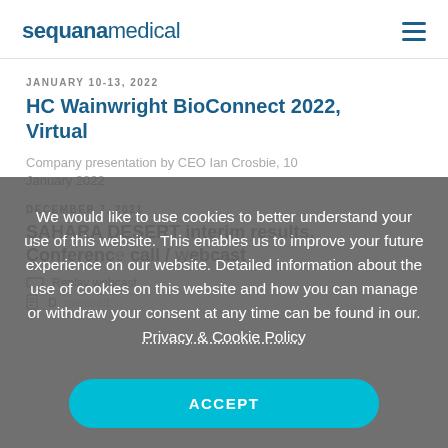sequanamedical
JANUARY 10-13, 2022
HC Wainwright BioConnect 2022, Virtual
Company presentation by CEO Ian Crosbie, 10 January 2022
DECEMBER 7, 2021
SAHARA DESERT interim results, Conference call / webcast
Replay webcast
We would like to use cookies to better understand your use of this website. This enables us to improve your future experience on our website. Detailed information about the use of cookies on this website and how you can manage or withdraw your consent at any time can be found in our. Privacy & Cookie Policy
ACCEPT